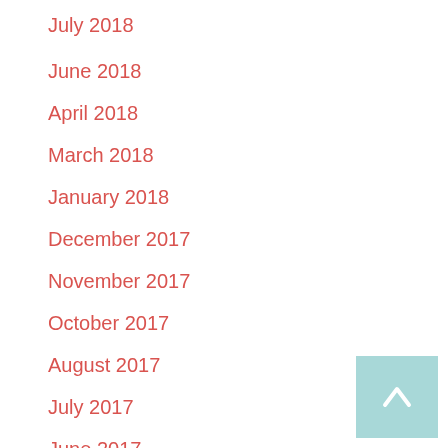July 2018
June 2018
April 2018
March 2018
January 2018
December 2017
November 2017
October 2017
August 2017
July 2017
June 2017
May 2017
April 2017
March 2017